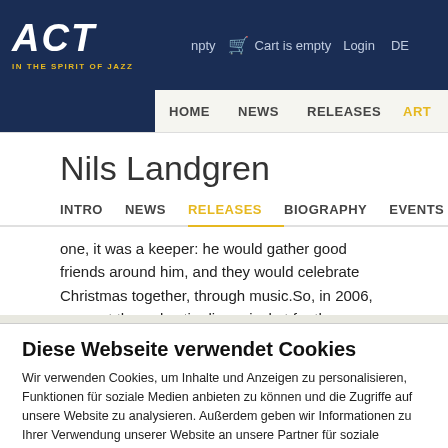ACT - IN THE SPIRIT OF JAZZ | npty | Cart is empty | Login | DE | HOME | NEWS | RELEASES | ART
Nils Landgren
INTRO | NEWS | RELEASES | BIOGRAPHY | EVENTS
one, it was a keeper: he would gather good friends around him, and they would celebrate Christmas together, through music.So, in 2006, on went the red satin dinner jacket for the very first time, and "Christmas With My Friends" was born. The concert in the ancient Odensala Church in Stockholm was recorded, and then issued as a
Diese Webseite verwendet Cookies
Wir verwenden Cookies, um Inhalte und Anzeigen zu personalisieren, Funktionen für soziale Medien anbieten zu können und die Zugriffe auf unsere Website zu analysieren. Außerdem geben wir Informationen zu Ihrer Verwendung unserer Website an unsere Partner für soziale Medien, Werbung und Analysen weiter. Unsere Partner führen diese Informationen möglicherweise mit weiteren Daten zusammen, die Sie ihnen bereitgestellt haben oder die sie im Rahmen Ihrer Nutzung der Dienste gesammelt haben. Sie gehen Einwilligung zu unseren Cookies, wenn Sie unsere Webseite